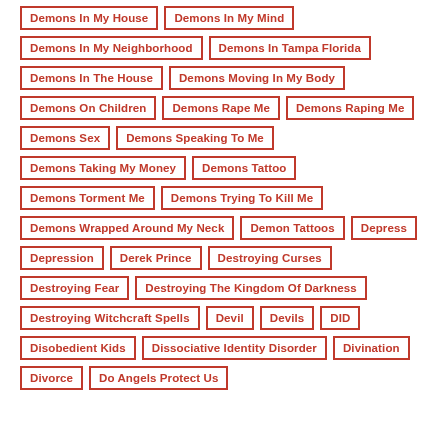Demons In My House
Demons In My Mind
Demons In My Neighborhood
Demons In Tampa Florida
Demons In The House
Demons Moving In My Body
Demons On Children
Demons Rape Me
Demons Raping Me
Demons Sex
Demons Speaking To Me
Demons Taking My Money
Demons Tattoo
Demons Torment Me
Demons Trying To Kill Me
Demons Wrapped Around My Neck
Demon Tattoos
Depress
Depression
Derek Prince
Destroying Curses
Destroying Fear
Destroying The Kingdom Of Darkness
Destroying Witchcraft Spells
Devil
Devils
DID
Disobedient Kids
Dissociative Identity Disorder
Divination
Divorce
Do Angels Protect Us